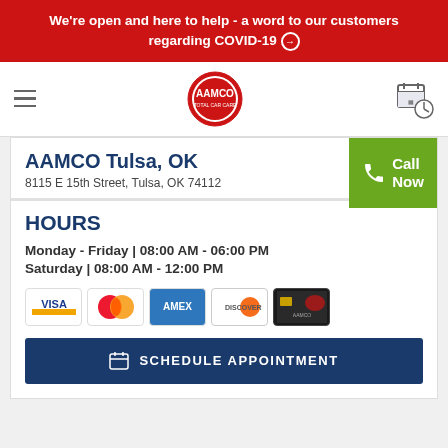We're open and here to help - a word to our customers regarding COVID-19 →
[Figure (logo): AAMCO Total Car Care logo with hamburger menu and schedule appointment icon]
AAMCO Tulsa, OK
8115 E 15th Street, Tulsa, OK 74112
HOURS
Monday - Friday  |  08:00 AM - 06:00 PM
Saturday  |  08:00 AM - 12:00 PM
[Figure (other): Payment card icons: Visa, Mastercard, Amex, Discover, AAMCO card]
SCHEDULE APPOINTMENT